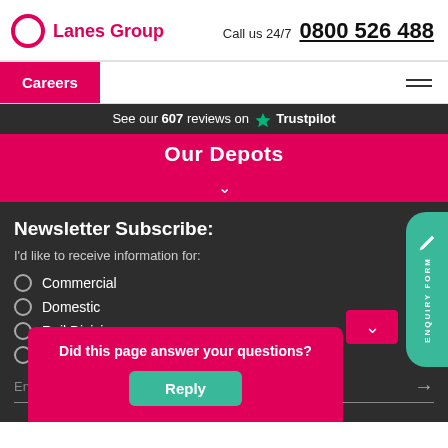Lanes Group | Call us 24/7 | 0800 526 488
Careers
See our 607 reviews on Trustpilot
Our Depots
Newsletter Subscribe:
I'd like to receive information for:
Commercial
Domestic
Rail Division
Utilities
Enter your email address
ENQUIRY FORM
Did this page answer your questions?
Reply